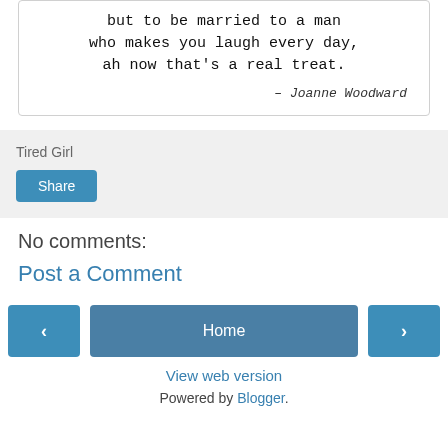[Figure (other): Quote card with typewriter font text: 'but to be married to a man who makes you laugh every day, ah now that's a real treat.' attributed to – Joanne Woodward]
Tired Girl
Share
No comments:
Post a Comment
‹
Home
›
View web version
Powered by Blogger.